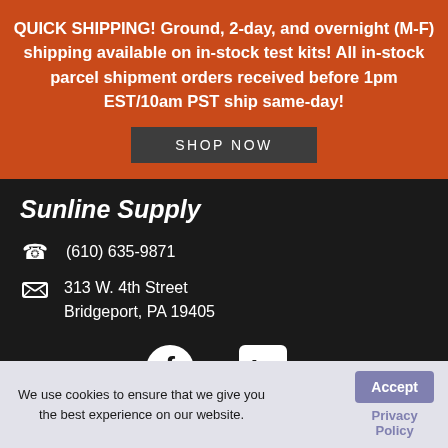QUICK SHIPPING! Ground, 2-day, and overnight (M-F) shipping available on in-stock test kits! All in-stock parcel shipment orders received before 1pm EST/10am PST ship same-day!
SHOP NOW
Sunline Supply
(610) 635-9871
313 W. 4th Street Bridgeport, PA 19405
[Figure (logo): Facebook logo circle icon with external link icon]
[Figure (logo): LinkedIn logo square icon with external link icon]
VERIFIED BY:
[Figure (illustration): Partial star rating icon in orange/salmon color]
We use cookies to ensure that we give you the best experience on our website.
Accept
Privacy Policy